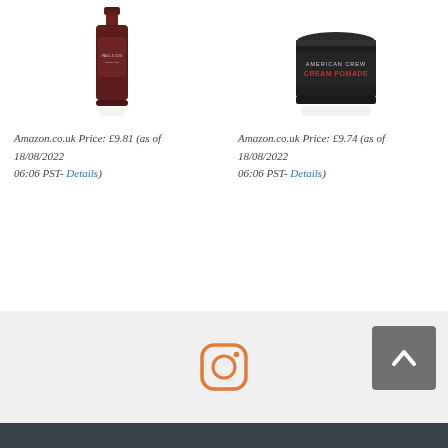[Figure (photo): Dark maroon/red hair product bottle, partially cropped at top]
Amazon.co.uk Price: £9.81 (as of 18/08/2022 06:06 PST- Details)
[Figure (photo): American Crew Cream Pomade dark tin jar, partially cropped at top]
Amazon.co.uk Price: £9.74 (as of 18/08/2022 06:06 PST- Details)
[Figure (logo): Instagram logo icon in orange/salmon color]
[Figure (other): Back to top arrow button, dark gray rounded square with white upward arrow]